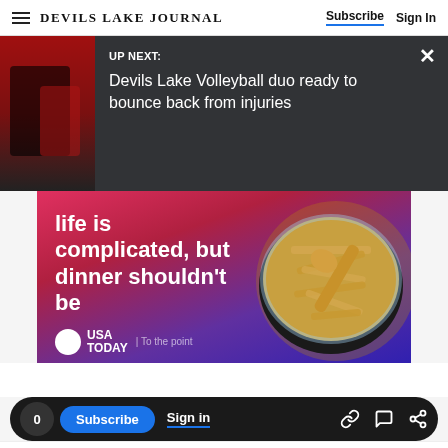DEVILS LAKE JOURNAL | Subscribe | Sign In
[Figure (screenshot): UP NEXT overlay on video thumbnail showing volleyball players. Text: UP NEXT: Devils Lake Volleyball duo ready to bounce back from injuries. Close button (×) top right.]
[Figure (infographic): USA Today advertisement: 'life is complicated, but dinner shouldn't be' with image of pasta in a pan. USA TODAY | To the point logo.]
0  Subscribe  Sign in
goals and 24 assists. Goals against have dropped